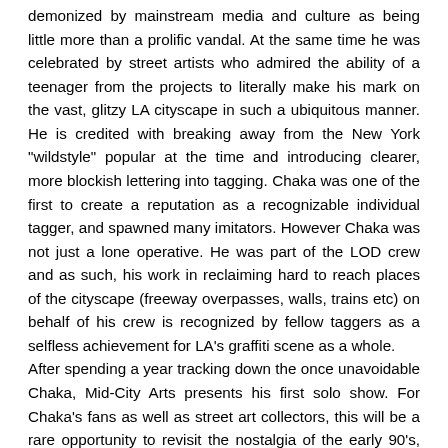demonized by mainstream media and culture as being little more than a prolific vandal. At the same time he was celebrated by street artists who admired the ability of a teenager from the projects to literally make his mark on the vast, glitzy LA cityscape in such a ubiquitous manner. He is credited with breaking away from the New York "wildstyle" popular at the time and introducing clearer, more blockish lettering into tagging. Chaka was one of the first to create a reputation as a recognizable individual tagger, and spawned many imitators. However Chaka was not just a lone operative. He was part of the LOD crew and as such, his work in reclaiming hard to reach places of the cityscape (freeway overpasses, walls, trains etc) on behalf of his crew is recognized by fellow taggers as a selfless achievement for LA's graffiti scene as a whole.
After spending a year tracking down the once unavoidable Chaka, Mid-City Arts presents his first solo show. For Chaka's fans as well as street art collectors, this will be a rare opportunity to revisit the nostalgia of the early 90's, and own a piece of LA's cultural history. Chaka himself will be in attendance and there will